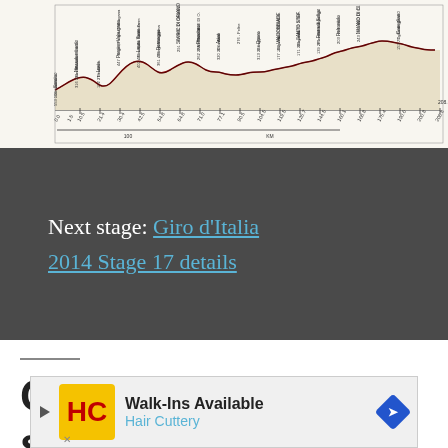[Figure (other): Elevation profile chart for Giro d'Italia 2014 stage, showing a route profile with labeled distance markers and location names along the x-axis, with elevation shown as a filled area with dark red/black outline. Multiple location names are annotated vertically above the profile.]
Next stage: Giro d'Italia 2014 Stage 17 details
Giro d'Italia 2014 stage
[Figure (other): Advertisement banner for Hair Cuttery: Walk-Ins Available, with HC logo and navigation arrow icon]